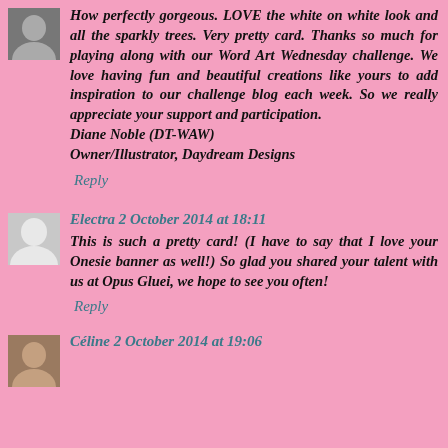How perfectly gorgeous. LOVE the white on white look and all the sparkly trees. Very pretty card. Thanks so much for playing along with our Word Art Wednesday challenge. We love having fun and beautiful creations like yours to add inspiration to our challenge blog each week. So we really appreciate your support and participation.
Diane Noble (DT-WAW)
Owner/Illustrator, Daydream Designs
Reply
Electra 2 October 2014 at 18:11
This is such a pretty card! (I have to say that I love your Onesie banner as well!) So glad you shared your talent with us at Opus Gluei, we hope to see you often!
Reply
Céline 2 October 2014 at 19:06